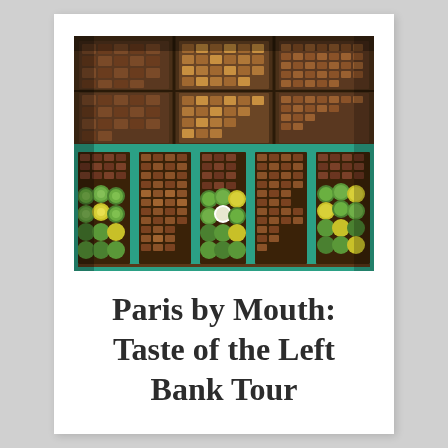[Figure (photo): A top-down photo of assorted chocolates and truffles displayed in turquoise/teal-bordered trays in a chocolate shop. Dark chocolate squares, round green and yellow decorated truffles, and various bonbons arranged in neat rows. Background shows more trays of chocolates on shelves.]
Paris by Mouth: Taste of the Left Bank Tour